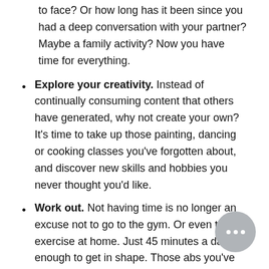to face? Or how long has it been since you had a deep conversation with your partner? Maybe a family activity? Now you have time for everything.
Explore your creativity. Instead of continually consuming content that others have generated, why not create your own? It's time to take up those painting, dancing or cooking classes you've forgotten about, and discover new skills and hobbies you never thought you'd like.
Work out. Not having time is no longer an excuse not to go to the gym. Or even to exercise at home. Just 45 minutes a day is enough to get in shape. Those abs you've seen so much on Instagram can be gotten for real.